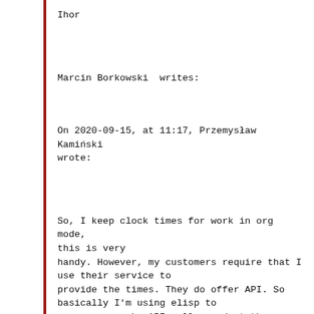Ihor
Marcin Borkowski  writes:
On 2020-09-15, at 11:17, Przemysław Kamiński wrote:
So, I keep clock times for work in org mode, this is very
handy. However, my customers require that I use their service to
provide the times. They do offer API. So basically I'm using elisp to
parse org, make API calls, and at the same time generate CSV reports
with a Python interop with org babel (because my elisp is just too bad
to do that). If I had access to some org